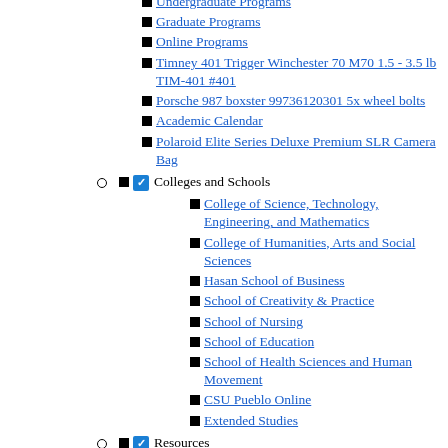Undergraduate Programs
Graduate Programs
Online Programs
Timney 401 Trigger Winchester 70 M70 1.5 - 3.5 lb TIM-401 #401
Porsche 987 boxster 99736120301 5x wheel bolts
Academic Calendar
Polaroid Elite Series Deluxe Premium SLR Camera Bag
Colleges and Schools
College of Science, Technology, Engineering, and Mathematics
College of Humanities, Arts and Social Sciences
Hasan School of Business
School of Creativity & Practice
School of Nursing
School of Education
School of Health Sciences and Human Movement
CSU Pueblo Online
Extended Studies
Resources
Pack Center - Advising